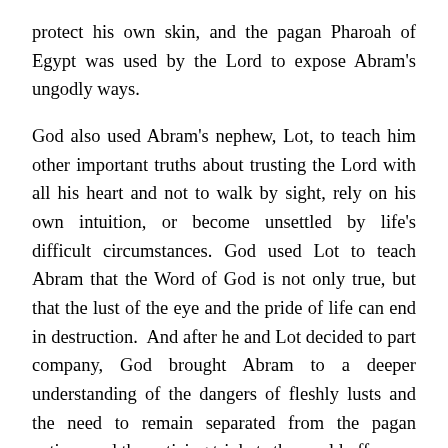protect his own skin, and the pagan Pharoah of Egypt was used by the Lord to expose Abram's ungodly ways.
God also used Abram's nephew, Lot, to teach him other important truths about trusting the Lord with all his heart and not to walk by sight, rely on his own intuition, or become unsettled by life's difficult circumstances. God used Lot to teach Abram that the Word of God is not only true, but that the lust of the eye and the pride of life can end in destruction. And after he and Lot decided to part company, God brought Abram to a deeper understanding of the dangers of fleshly lusts and the need to remain separated from the pagan nations and the enticing trinkets the world offers.
It was after his arrival in Canaan that Abram learned the importance of calling on the name of the Lord, through prayers and intercessions - but Abram continued to wait